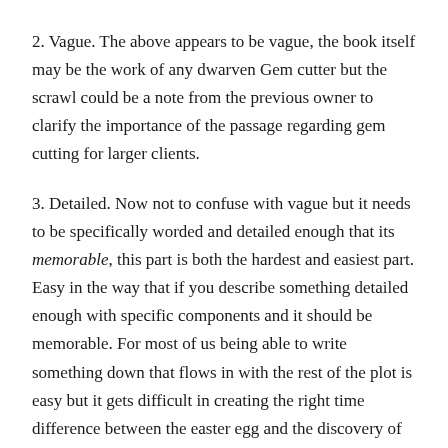2. Vague. The above appears to be vague, the book itself may be the work of any dwarven Gem cutter but the scrawl could be a note from the previous owner to clarify the importance of the passage regarding gem cutting for larger clients.
3. Detailed. Now not to confuse with vague but it needs to be specifically worded and detailed enough that its memorable, this part is both the hardest and easiest part. Easy in the way that if you describe something detailed enough with specific components and it should be memorable. For most of us being able to write something down that flows in with the rest of the plot is easy but it gets difficult in creating the right time difference between the easter egg and the discovery of importance.
This is what I find to be the hardest in the way that you need to write something that is detailed enough, specific enough (yet...